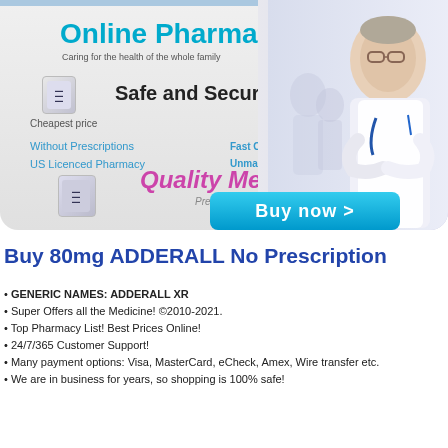[Figure (infographic): Online pharmacy advertisement banner with doctor image, pill bottles, and promotional text including 'Online Pharmacy', 'Safe and Secure', 'Quality Meds', 'Buy now' button]
Buy 80mg ADDERALL No Prescription
GENERIC NAMES: ADDERALL XR
Super Offers all the Medicine! ©2010-2021.
Top Pharmacy List! Best Prices Online!
24/7/365 Customer Support!
Many payment options: Visa, MasterCard, eCheck, Amex, Wire transfer etc.
We are in business for years, so shopping is 100% safe!